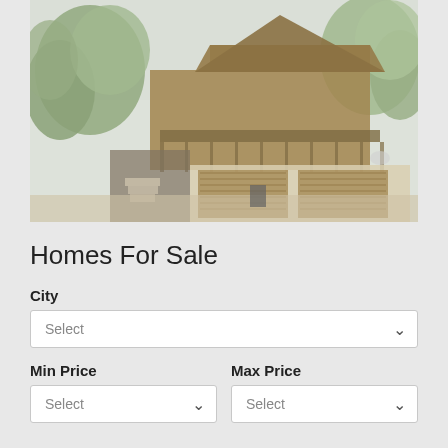[Figure (photo): Photo of a two-story wooden cabin-style house with a large deck/balcony on the upper floor, two-car garage on the lower level, surrounded by green trees. Image has a washed-out/faded appearance.]
Homes For Sale
City
Select (dropdown)
Min Price
Max Price
Select (Min Price dropdown)
Select (Max Price dropdown)